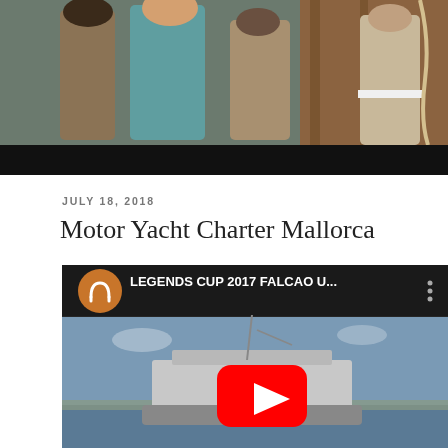[Figure (photo): Partial photo of people on a yacht deck, cropped showing figures in casual clothing with wooden interior visible. Bottom portion has a black bar.]
JULY 18, 2018
Motor Yacht Charter Mallorca
[Figure (screenshot): YouTube video embed showing 'LEGENDS CUP 2017 FALCAO U...' with an orange circular logo on the left and a three-dot menu icon. Below is a thumbnail image of a yacht/ship at sea with a red YouTube play button overlay.]